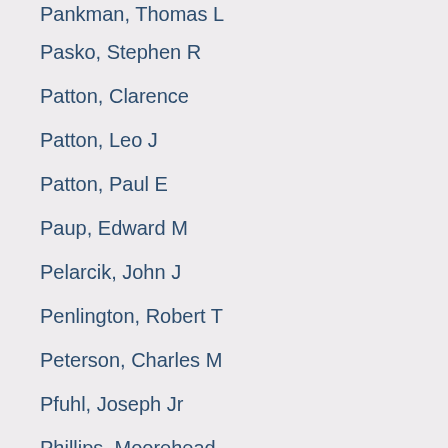Pankman, Thomas L
Pasko, Stephen R
Patton, Clarence
Patton, Leo J
Patton, Paul E
Paup, Edward M
Pelarcik, John J
Penlington, Robert T
Peterson, Charles M
Pfuhl, Joseph Jr
Phillips, Moorehead
Phipps, John M
Pickell, Arthur C